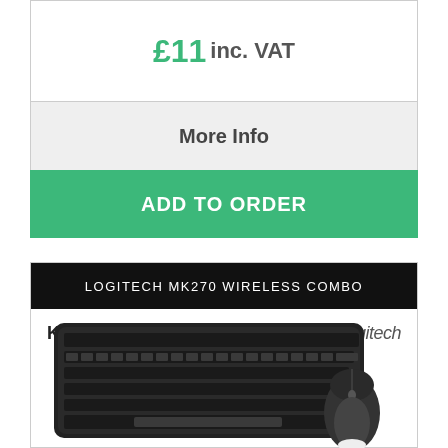£11 inc. VAT
More Info
ADD TO ORDER
LOGITECH MK270 WIRELESS COMBO
Keyboard Country: United Kingdom
[Figure (photo): Logitech MK270 wireless keyboard and mouse combo, black, shown on white background]